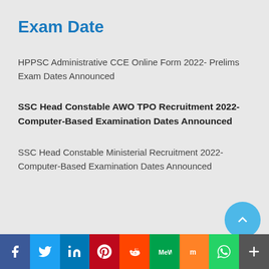Exam Date
HPPSC Administrative CCE Online Form 2022- Prelims Exam Dates Announced
SSC Head Constable AWO TPO Recruitment 2022- Computer-Based Examination Dates Announced
SSC Head Constable Ministerial Recruitment 2022- Computer-Based Examination Dates Announced
[Figure (infographic): Social media sharing bar at the bottom with icons for Facebook, Twitter, LinkedIn, Pinterest, Reddit, MeWe, Mix, WhatsApp, and More (plus button). Also a scroll-up circular button in teal.]